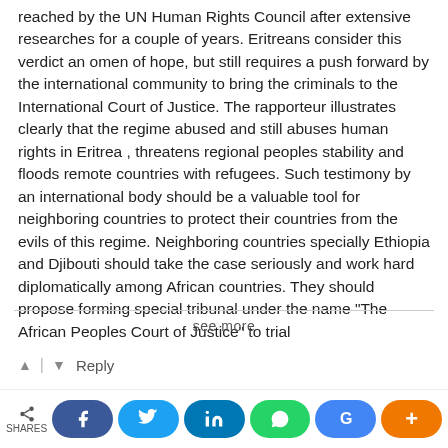reached by the UN Human Rights Council after extensive researches for a couple of years. Eritreans consider this verdict an omen of hope, but still requires a push forward by the international community to bring the criminals to the International Court of Justice. The rapporteur illustrates clearly that the regime abused and still abuses human rights in Eritrea , threatens regional peoples stability and floods remote countries with refugees. Such testimony by an international body should be a valuable tool for neighboring countries to protect their countries from the evils of this regime. Neighboring countries specially Ethiopia and Djibouti should take the case seriously and work hard diplomatically among African countries. They should propose forming special tribunal under the name "The African Peoples Court of Justice" to trial
see more
Reply
Blink → Hameed Al-Arabi
6 years ago